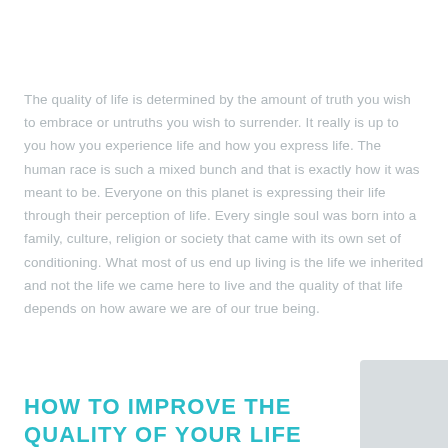The quality of life is determined by the amount of truth you wish to embrace or untruths you wish to surrender. It really is up to you how you experience life and how you express life. The human race is such a mixed bunch and that is exactly how it was meant to be. Everyone on this planet is expressing their life through their perception of life. Every single soul was born into a family, culture, religion or society that came with its own set of conditioning. What most of us end up living is the life we inherited and not the life we came here to live and the quality of that life depends on how aware we are of our true being.
HOW TO IMPROVE THE QUALITY OF YOUR LIFE